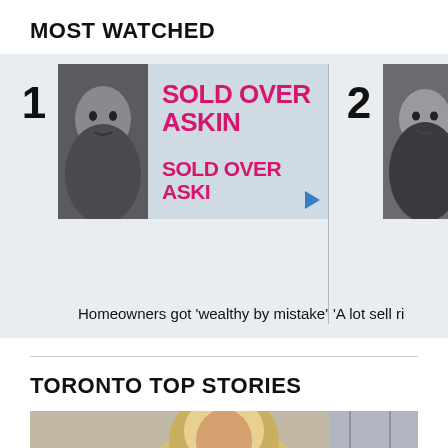MOST WATCHED
[Figure (photo): Most Watched item 1: photo of man and real estate sign reading 'SOLD OVER ASKING']
[Figure (photo): Most Watched item 2: partial photo of smiling man]
Homeowners got 'wealthy by mistake'
'A lot sell ri
TORONTO TOP STORIES
[Figure (photo): Toronto Top Stories: partial photo of woman with blonde hair]